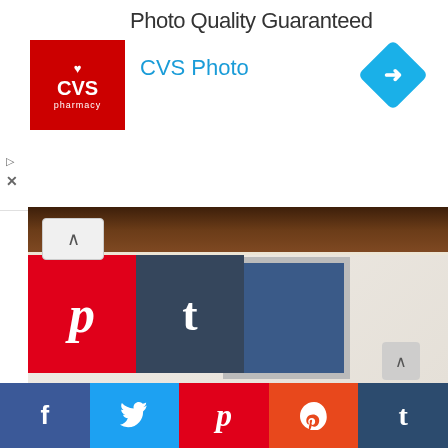[Figure (screenshot): CVS Photo advertisement banner with CVS Pharmacy logo (red box), 'Photo Quality Guaranteed' text, 'CVS Photo' in blue, and a blue diamond navigation arrow icon on the right]
[Figure (photo): Close-up photo of a white/cream distressed dresser with brown wood top, ornate drawer pulls, against a dark navy blue wall background]
[Figure (photo): Photo of a gallery wall arrangement with multiple framed artworks including a blue frame, a gold-bordered frame with red art, and other frames on a light wall. Pinterest and Tumblr social share buttons overlay the top-left corner.]
[Figure (screenshot): Bottom social share bar with Facebook (blue), Twitter (light blue), Pinterest (red), StumbleUpon (orange-red), and Tumblr (dark blue) buttons]